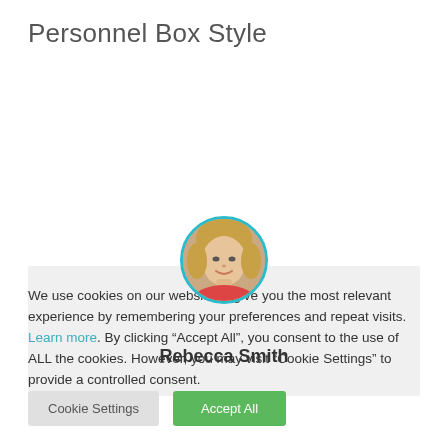Personnel Box Style
[Figure (photo): Circular avatar photo of a young woman (Rebecca Smith) with a teal/cyan circular border, displayed on a light grey card background.]
Rebecca Smith
We use cookies on our website to give you the most relevant experience by remembering your preferences and repeat visits. Learn more. By clicking “Accept All”, you consent to the use of ALL the cookies. However, you may visit “Cookie Settings” to provide a controlled consent.
Cookie Settings | Accept All